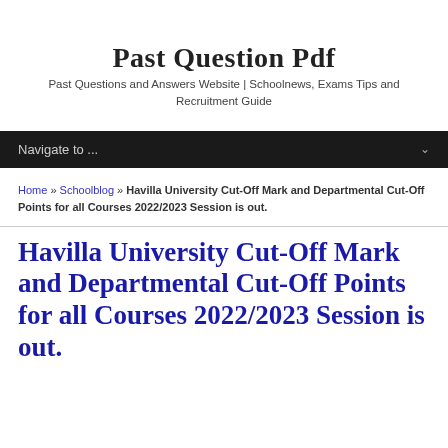Past Question Pdf
Past Questions and Answers Website | Schoolnews, Exams Tips and Recruitment Guide
Navigate to ...
Home » Schoolblog » Havilla University Cut-Off Mark and Departmental Cut-Off Points for all Courses 2022/2023 Session is out.
Havilla University Cut-Off Mark and Departmental Cut-Off Points for all Courses 2022/2023 Session is out.